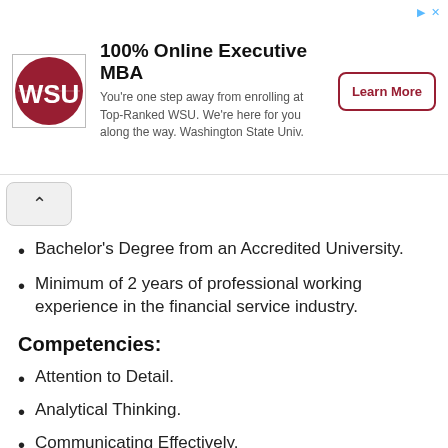[Figure (logo): WSU advertisement banner with logo, '100% Online Executive MBA' heading, descriptive text, and 'Learn More' button]
Bachelor's Degree from an Accredited University.
Minimum of 2 years of professional working experience in the financial service industry.
Competencies:
Attention to Detail.
Analytical Thinking.
Communicating Effectively.
Relationship Building for Influence
How To Apply For Business